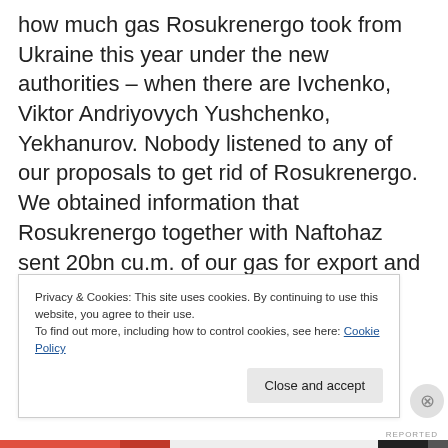how much gas Rosukrenergo took from Ukraine this year under the new authorities – when there are Ivchenko, Viktor Andriyovych Yushchenko, Yekhanurov. Nobody listened to any of our proposals to get rid of Rosukrenergo. We obtained information that Rosukrenergo together with Naftohaz sent 20bn cu.m. of our gas for export and earned 2.5bn dollars in proceeds for
Privacy & Cookies: This site uses cookies. By continuing to use this website, you agree to their use.
To find out more, including how to control cookies, see here: Cookie Policy